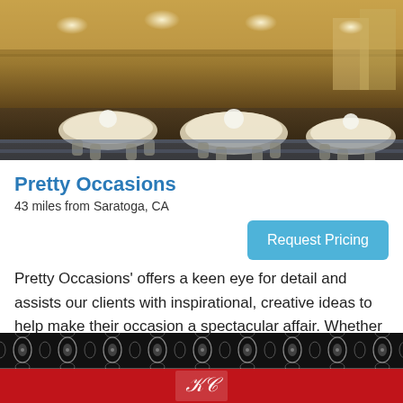[Figure (photo): Interior of an elegant banquet hall with round tables set with white tablecloths, floral centerpieces, gold chairs, and ornate gold ceiling decorations with chandeliers.]
Pretty Occasions
43 miles from Saratoga, CA
Request Pricing
Pretty Occasions' offers a keen eye for detail and assists our clients with inspirational, creative ideas to help make their occasion a spectacular affair. Whether you envision an Elegant, Chic, Lavish or Rustic occasion we can help you create the event
[Figure (photo): Bottom portion of a second listing showing a black and white damask patterned fabric on top and a red banner with a white monogram/logo in the center.]